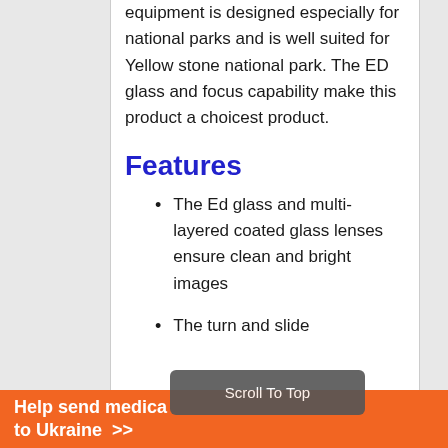equipment is designed especially for national parks and is well suited for Yellow stone national park. The ED glass and focus capability make this product a choicest product.
Features
The Ed glass and multi-layered coated glass lenses ensure clean and bright images
The turn and slide
Help send medica to Ukraine >> Scroll To Top Direct Relief